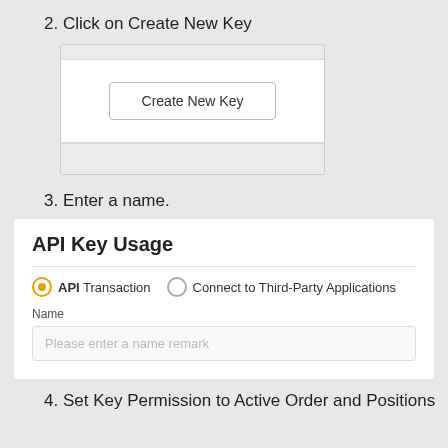2. Click on Create New Key
[Figure (screenshot): Screenshot of a web UI panel with a 'Create New Key' button centered in a white content area, with gray header and footer bars.]
3. Enter a name.
[Figure (screenshot): Screenshot of 'API Key Usage' dialog with radio buttons for 'API Transaction' (selected, orange) and 'Connect to Third-Party Applications', a 'Name' field label, and a text input with placeholder 'Please enter a name remark'.]
4. Set Key Permission to Active Order and Positions